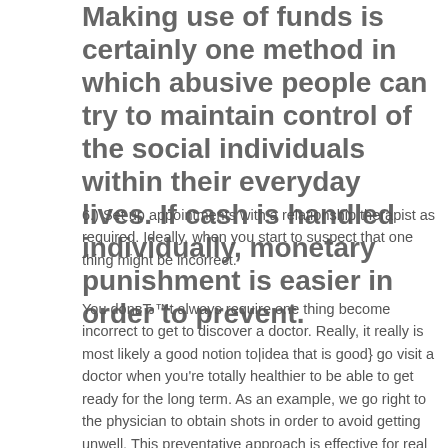Making use of funds is certainly one method in which abusive people can try to maintain control of the social individuals within their everyday lives. If cash is handled individually, monetary punishment is easier in order to prevent.
6.) Set up appointments with a relationship therapist as required. Ideally, when you start to suspect that one thing might be incorrect.
You donвЂ™t always require one thing become incorrect to get to discover a doctor. Really, it really is most likely a good notion to|idea that is good} go visit a doctor when you're totally healthier to be able to get ready for the long term. As an example, we go right to the physician to obtain shots in order to avoid getting unwell. This preventative approach is effective for real wellness in addition to relational and psychological state. In the event that you begin experiencing form of strange about a relationship or something like that feels down, come consult with us!